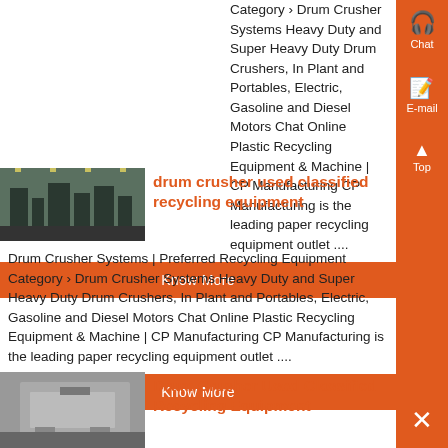Category › Drum Crusher Systems Heavy Duty and Super Heavy Duty Drum Crushers, In Plant and Portables, Electric, Gasoline and Diesel Motors Chat Online Plastic Recycling Equipment & Machine | CP Manufacturing CP Manufacturing is the leading paper recycling equipment outlet ....
Know More
[Figure (photo): Photo of industrial drum crusher equipment inside a facility]
drum crusher used classified recycling equipment
Drum Crusher Systems | Preferred Recycling Equipment Category › Drum Crusher Systems Heavy Duty and Super Heavy Duty Drum Crushers, In Plant and Portables, Electric, Gasoline and Diesel Motors Chat Online Plastic Recycling Equipment & Machine | CP Manufacturing CP Manufacturing is the leading paper recycling equipment outlet ....
Know More
[Figure (photo): Photo of drum crusher equipment]
Drum Crusher Used Classified Recycling Equipment